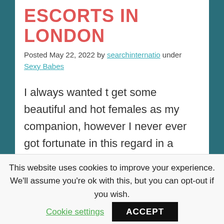ESCORTS IN LONDON
Posted May 22, 2022 by searchinternatio under
Sexy Babes
I always wanted t get some beautiful and hot females as my companion, however I never ever got fortunate in this regard in a regular manner. Because of this I felt extremely pity, however my one pal presented me with beautiful escorts in
This website uses cookies to improve your experience. We'll assume you're ok with this, but you can opt-out if you wish.
Cookie settings
ACCEPT